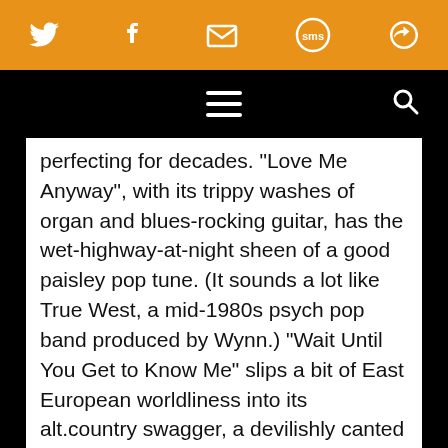[Social share bar: Twitter, Facebook, Email, SMS, Share icons]
[Navigation bar: hamburger menu, search icon]
perfecting for decades. "Love Me Anyway", with its trippy washes of organ and blues-rocking guitar, has the wet-highway-at-night sheen of a good paisley pop tune. (It sounds a lot like True West, a mid-1980s psych pop band produced by Wynn.) "Wait Until You Get to Know Me" slips a bit of East European worldliness into its alt.country swagger, a devilishly canted grin implied in lyrics like, “I’m the finger of scotch in a dry Manhattan”.
Fans of Wynn’s hard-rocking Miracle 3 material may